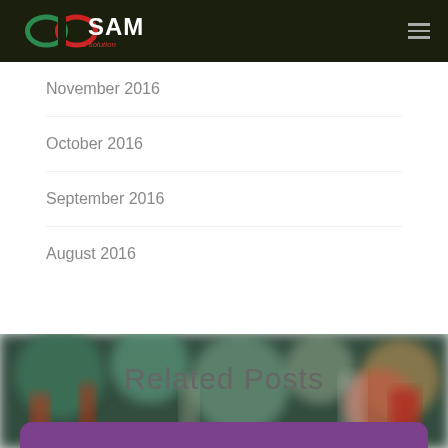[Figure (logo): SAM web solution logo with infinity symbol in green/red, white text SAM and red web solution text on dark background]
November 2016
October 2016
September 2016
August 2016
Related Posts
[Figure (photo): Blurred street scene with colorful bokeh lights, greens, oranges, reds]